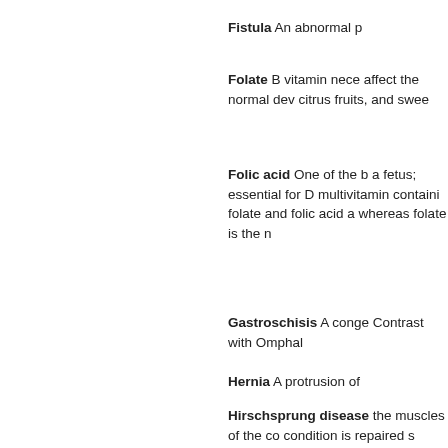Fistula An abnormal p
Folate B vitamin nece affect the normal dev citrus fruits, and swee
Folic acid One of the B a fetus; essential for D multivitamin containi folate and folic acid a whereas folate is the n
Gastroschisis A conge Contrast with Omphalo
Hernia A protrusion of
Hirschsprung disease the muscles of the co condition is repaired s